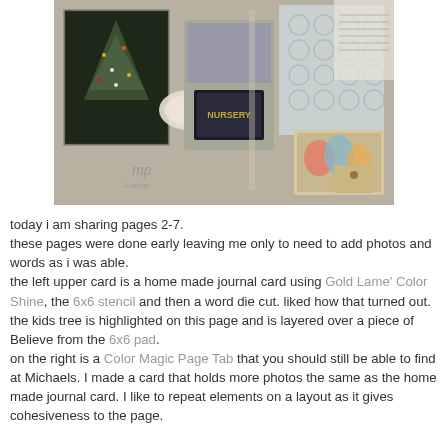[Figure (photo): A scrapbook/memory album photo showing layered journal cards, patterned papers, decorative doilies, a Christmas tree photo, a 'Nursery' label, circular patterned paper, and various embellishments arranged in a craft album layout.]
today i am sharing pages 2-7. these pages were done early leaving me only to need to add photos and words as i was able. the left upper card is a home made journal card using Gold Lame' Color Shine, the 6x6 stencil and then a word die cut. liked how that turned out. the kids tree is highlighted on this page and is layered over a piece of Believe from the 6x6 pad. on the right is a Color Magic Page Tab that you should still be able to find at Michaels. I made a card that holds more photos the same as the home made journal card. I like to repeat elements on a layout as it gives cohesiveness to the page.